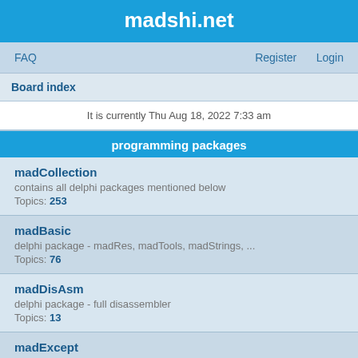madshi.net
FAQ   Register   Login
Board index
It is currently Thu Aug 18, 2022 7:33 am
programming packages
madCollection
contains all delphi packages mentioned below
Topics: 253
madBasic
delphi package - madRes, madTools, madStrings, ...
Topics: 76
madDisAsm
delphi package - full disassembler
Topics: 13
madExcept
delphi package - automated exception handling
Topics: 1849
madRemote
delphi package - getting into other processes
Topics: 37
madKernel